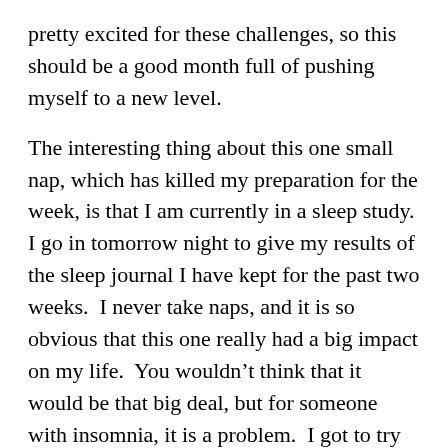pretty excited for these challenges, so this should be a good month full of pushing myself to a new level.
The interesting thing about this one small nap, which has killed my preparation for the week, is that I am currently in a sleep study.  I go in tomorrow night to give my results of the sleep journal I have kept for the past two weeks.  I never take naps, and it is so obvious that this one really had a big impact on my life.  You wouldn't think that it would be that big deal, but for someone with insomnia, it is a problem.  I got to try out a tempurpedic yesterday.  Boy do I want one of those!
For now, I made my quiches.  I planned on 2, but had enough for 3.  Ended up with one swiss, one feta and one cheddar.  Pretty yummy!
The best thing is that making them totally got me out